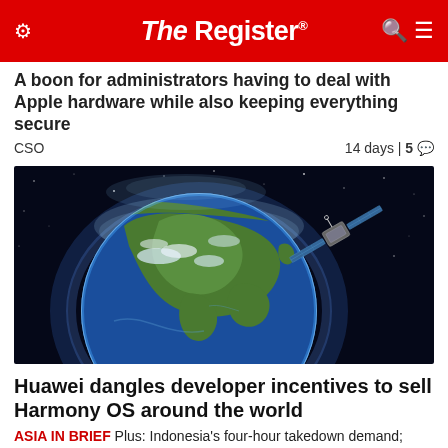The Register
A boon for administrators having to deal with Apple hardware while also keeping everything secure
CSO   14 days | 5
[Figure (photo): Illustration of Earth from space with a satellite orbiting, showing Asia region visible on the globe against a dark starry background]
Huawei dangles developer incentives to sell Harmony OS around the world
ASIA IN BRIEF Plus: Indonesia's four-hour takedown demand; Back Facebook in Korea?; Alibaba froze font; and